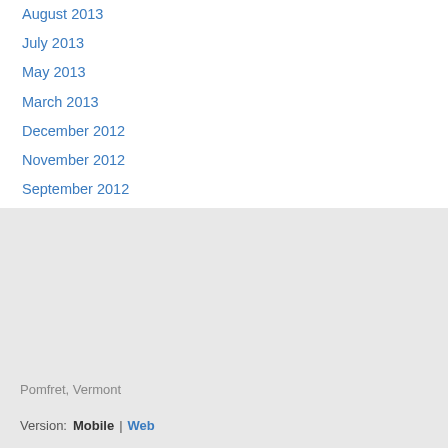August 2013
July 2013
May 2013
March 2013
December 2012
November 2012
September 2012
August 2012
Pomfret, Vermont
Version:  Mobile  |  Web